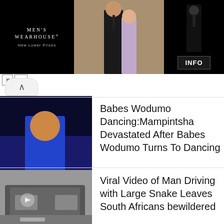[Figure (photo): Men's Wearhouse advertisement banner with couple in formal wear and man in suit, with INFO button]
MEN'S WEARHOUSE®
New Lower Prices
INFO
Babes Wodumo Dancing:Mampintsha Devastated After Babes Wodumo Turns To Dancing
[Figure (photo): Female performer on stage in blue outfit]
Viral Video of Man Driving with Large Snake Leaves South Africans bewildered
[Figure (photo): Dark car viewed from rear with play button overlay]
TOP 5  Richest Women in the World 2021
[Figure (photo): Man and woman portraits side by side]
Top 10 countries with the most beautiful women in Africa
[Figure (photo): Woman with braided hair and Burundi flag]